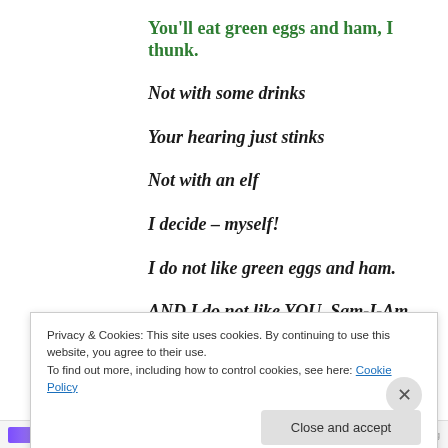You’ll eat green eggs and ham, I thunk.
Not with some drinks
Your hearing just stinks
Not with an elf
I decide – myself!
I do not like green eggs and ham.
AND I do not like YOU, Sam-I-Am
Privacy & Cookies: This site uses cookies. By continuing to use this website, you agree to their use.
To find out more, including how to control cookies, see here: Cookie Policy